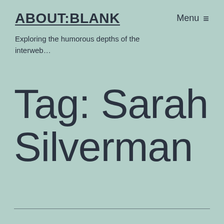ABOUT:BLANK
Menu ≡
Exploring the humorous depths of the interweb…
Tag: Sarah Silverman